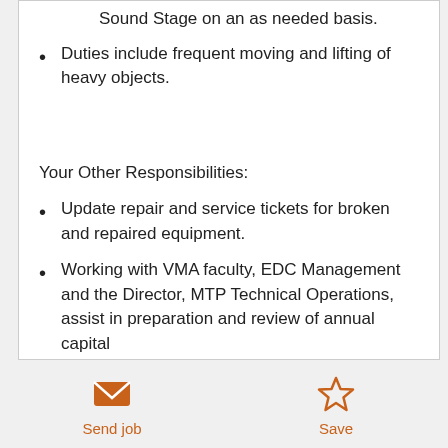Sound Stage on an as needed basis.
Duties include frequent moving and lifting of heavy objects.
Your Other Responsibilities:
Update repair and service tickets for broken and repaired equipment.
Working with VMA faculty, EDC Management and the Director, MTP Technical Operations, assist in preparation and review of annual capital
Send job   Save